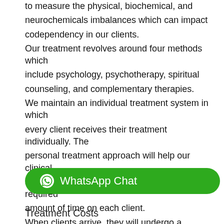to measure the physical, biochemical, and neurochemicals imbalances which can impact codependency in our clients. Our treatment revolves around four methods which include psychology, psychotherapy, spiritual counseling, and complementary therapies. We maintain an individual treatment system in which every client receives their treatment individually. The personal treatment approach will help our clinical and complementary teams devote the required amount of time on each client. When clients arrive, they will undergo a comprehensive medical checkup at the facilities of our partner hospital. Next, they will be transferred to one of our comfortable Greek 5-star lodging where a private residence awaits them, and a resident
[Figure (other): WhatsApp Chat button with WhatsApp logo icon and green rounded rectangle background]
Treatment Costs